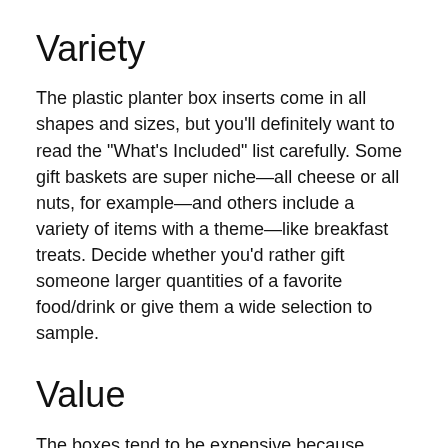Variety
The plastic planter box inserts come in all shapes and sizes, but you’ll definitely want to read the “What’s Included” list carefully. Some gift baskets are super niche—all cheese or all nuts, for example—and others include a variety of items with a theme—like breakfast treats. Decide whether you’d rather gift someone larger quantities of a favorite food/drink or give them a wide selection to sample.
Value
The boxes tend to be expensive because